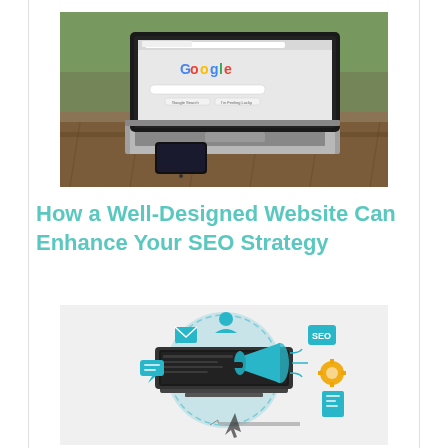[Figure (photo): Laptop computer displaying Google homepage on a wooden table, with a smartphone next to it, outdoor background.]
How a Well-Designed Website Can Enhance Your SEO Strategy
[Figure (illustration): Digital marketing illustration showing a megaphone coming out of a computer screen with various digital marketing icons including email, SEO, gears, and a cursor arrow, on a light gray background.]